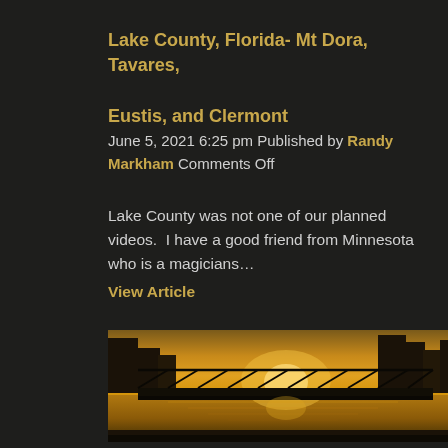Lake County, Florida- Mt Dora, Tavares, Eustis, and Clermont
June 5, 2021 6:25 pm Published by Randy Markham Comments Off
Lake County was not one of our planned videos.  I have a good friend from Minnesota who is a magicians… View Article
[Figure (photo): Photo of a bridge over a river at sunset/golden hour, with warm golden light reflecting on the water and a city skyline in the background.]